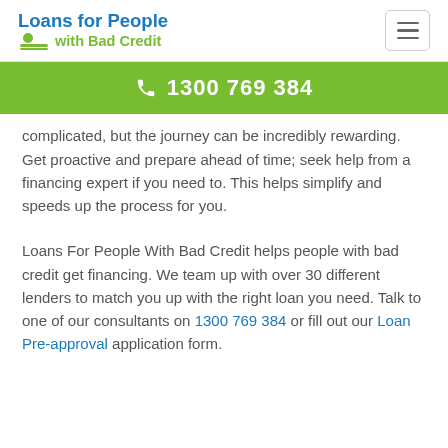[Figure (logo): Loans for People with Bad Credit logo — blue bold text 'Loans for People' on top, green icon and text 'with Bad Credit' below]
☎ 1300 769 384
complicated, but the journey can be incredibly rewarding. Get proactive and prepare ahead of time; seek help from a financing expert if you need to. This helps simplify and speeds up the process for you.
Loans For People With Bad Credit helps people with bad credit get financing. We team up with over 30 different lenders to match you up with the right loan you need. Talk to one of our consultants on 1300 769 384 or fill out our Loan Pre-approval application form.